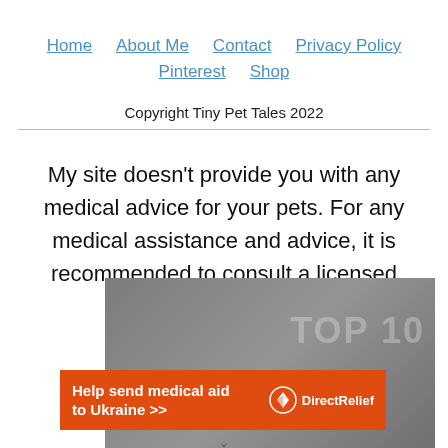Home   About Me   Contact   Privacy Policy   Pinterest   Shop
Copyright Tiny Pet Tales 2022
My site doesn't provide you with any medical advice for your pets. For any medical assistance and advice, it is recommended to consult a licensed veterinarian.
[Figure (screenshot): Video player overlay showing 'No compatible source was found for this media.' with a background showing 'TOP 10' text partially visible]
[Figure (infographic): Orange advertisement banner reading 'Help send medical aid to Ukraine >>' with Direct Relief logo]